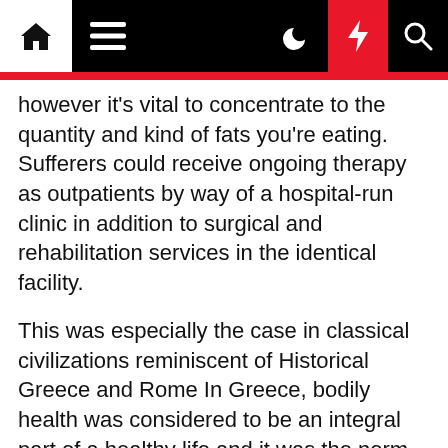[Navigation bar with home, menu, moon, bolt, search icons]
however it's vital to concentrate to the quantity and kind of fats you're eating. Sufferers could receive ongoing therapy as outpatients by way of a hospital-run clinic in addition to surgical and rehabilitation services in the identical facility.
This was especially the case in classical civilizations reminiscent of Historical Greece and Rome In Greece, bodily health was considered to be an integral part of a healthy life and it was the norm for males to frequent a gymnasium Physical health regimes were additionally considered to be of paramount significance in a nation's skill to coach troopers for an efficient military force.
Anemia is a condition wherein you lack enough wholesome red blood cells to hold ample oxygen to your physique's tissues. Metropolitan France is